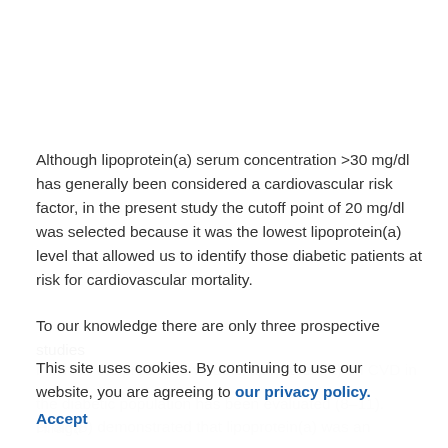Although lipoprotein(a) serum concentration >30 mg/dl has generally been considered a cardiovascular risk factor, in the present study the cutoff point of 20 mg/dl was selected because it was the lowest lipoprotein(a) level that allowed us to identify those diabetic patients at risk for cardiovascular mortality.
To our knowledge there are only three prospective studies
This site uses cookies. By continuing to use our website, you are agreeing to our privacy policy. Accept